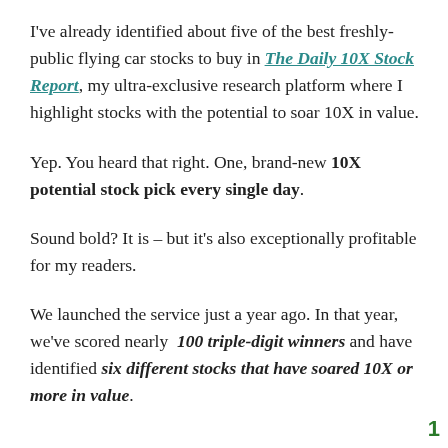I've already identified about five of the best freshly-public flying car stocks to buy in The Daily 10X Stock Report, my ultra-exclusive research platform where I highlight stocks with the potential to soar 10X in value.
Yep. You heard that right. One, brand-new 10X potential stock pick every single day.
Sound bold? It is – but it's also exceptionally profitable for my readers.
We launched the service just a year ago. In that year, we've scored nearly 100 triple-digit winners and have identified six different stocks that have soared 10X or more in value.
1